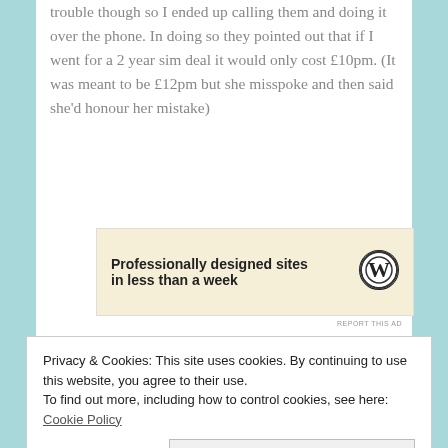trouble though so I ended up calling them and doing it over the phone. In doing so they pointed out that if I went for a 2 year sim deal it would only cost £10pm. (It was meant to be £12pm but she misspoke and then said she'd honour her mistake)
[Figure (other): Advertisement banner: 'Professionally designed sites in less than a week' with WordPress logo]
REPORT THIS AD
My device is entirely paid off but it's still doing
Privacy & Cookies: This site uses cookies. By continuing to use this website, you agree to their use.
To find out more, including how to control cookies, see here: Cookie Policy
cheaper pm and 3GB richer. Nice. I forgot to ask if